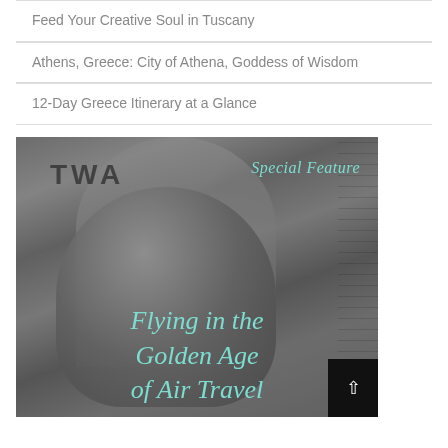Feed Your Creative Soul in Tuscany
Athens, Greece: City of Athena, Goddess of Wisdom
12-Day Greece Itinerary at a Glance
[Figure (photo): Black and white photograph of a TWA flight attendant smiling at the aircraft door, with 'Special Feature' text in teal cursive and the title 'Flying in the Golden Age of Air Travel' in teal cursive overlaid on the image. A dark scroll-to-top button is visible at bottom right.]